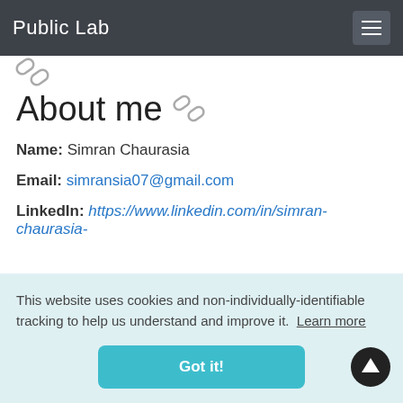Public Lab
About me
Name: Simran Chaurasia
Email: simransia07@gmail.com
LinkedIn: https://www.linkedin.com/in/simran-chaurasia-
This website uses cookies and non-individually-identifiable tracking to help us understand and improve it. Learn more